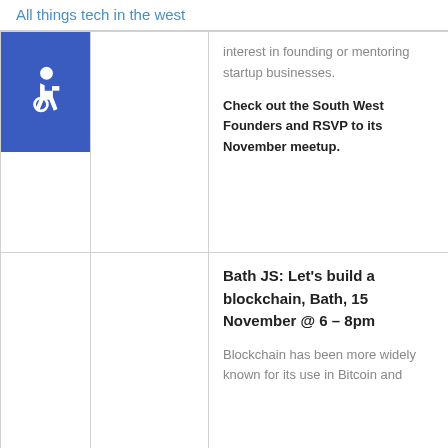All things tech in the west
interest in founding or mentoring startup businesses.
Check out the South West Founders and RSVP to its November meetup.
Bath JS: Let’s build a blockchain, Bath, 15 November @ 6 – 8pm
Blockchain has been more widely known for its use in Bitcoin and